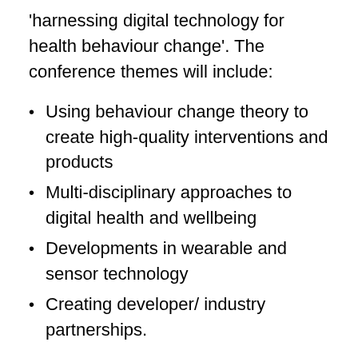'harnessing digital technology for health behaviour change'. The conference themes will include:
Using behaviour change theory to create high-quality interventions and products
Multi-disciplinary approaches to digital health and wellbeing
Developments in wearable and sensor technology
Creating developer/ industry partnerships.
We're looking forward to a breadth of interesting talks from user perspectives of mobile apps and human centred design to new approaches to evaluation and learning. As in previous years, the conference will feature a mix of academics, public sector and private sector attendee's. We're especially excited to have a large spike in start-ups presenting and attending this